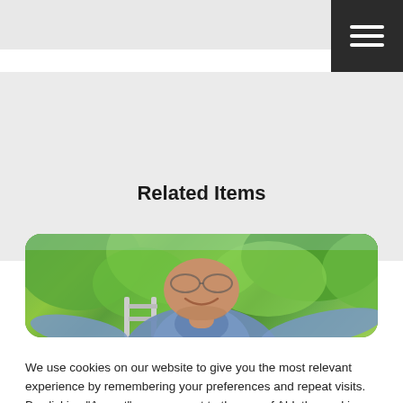Related Items
[Figure (photo): Photo of a smiling man in a light blue shirt outdoors with green trees in the background, cropped at mid-face, displayed in a rounded rectangle card.]
We use cookies on our website to give you the most relevant experience by remembering your preferences and repeat visits. By clicking “Accept”, you consent to the use of ALL the cookies.
ACCEPT